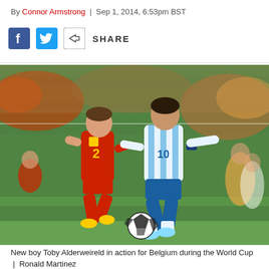By Connor Armstrong | Sep 1, 2014, 6:53pm BST
[Figure (other): Social share bar with Facebook, Twitter, and generic share icons with SHARE label]
[Figure (photo): Football action photo: Toby Alderweireld (Belgium, red kit, number 2) chasing Lionel Messi (Argentina, light blue and white striped kit, number 10) during a World Cup match on a grass pitch with crowd in background]
New boy Toby Alderweireld in action for Belgium during the World Cup | Ronald Martinez